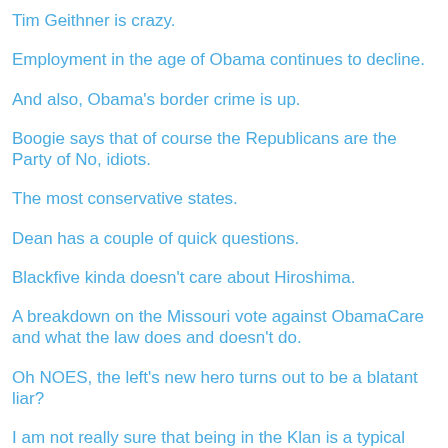Tim Geithner is crazy.
Employment in the age of Obama continues to decline.
And also, Obama's border crime is up.
Boogie says that of course the Republicans are the Party of No, idiots.
The most conservative states.
Dean has a couple of quick questions.
Blackfive kinda doesn't care about Hiroshima.
A breakdown on the Missouri vote against ObamaCare and what the law does and doesn't do.
Oh NOES, the left's new hero turns out to be a blatant liar?
I am not really sure that being in the Klan is a typical American.